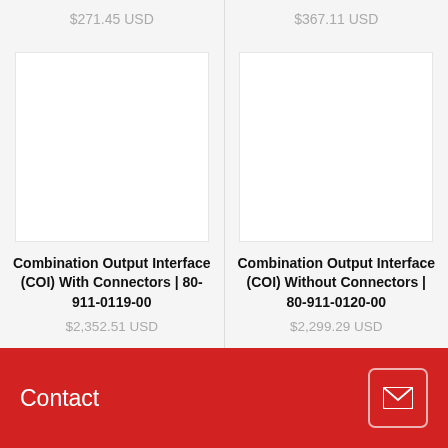$271.45 USD
$367.11 USD
Combination Output Interface (COI) With Connectors | 80-911-0119-00
$2,352.51 USD
Combination Output Interface (COI) Without Connectors | 80-911-0120-00
$2,299.29 USD
Contact